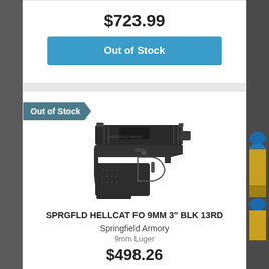$723.99
Out of Stock
Out of Stock
[Figure (photo): Springfield Armory Hellcat FO 9mm compact pistol shown in profile view, black finish]
SPRGFLD HELLCAT FO 9MM 3" BLK 13RD
Springfield Armory
9mm Luger
$498.26